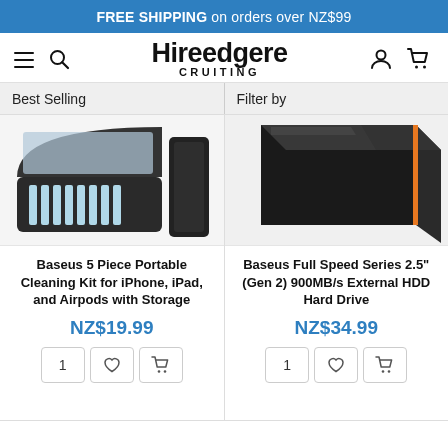FREE SHIPPING on orders over NZ$99
[Figure (logo): Hireedgere Cruiting logo with hamburger menu, search icon, user icon, and cart icon]
Best Selling
Filter by
[Figure (photo): Baseus 5 Piece Portable Cleaning Kit - open case with cleaning tools and a black case beside it]
[Figure (photo): Baseus Full Speed Series 2.5 inch Gen 2 external HDD hard drive - black rectangular device with orange accent stripe]
Baseus 5 Piece Portable Cleaning Kit for iPhone, iPad, and Airpods with Storage
NZ$19.99
Baseus Full Speed Series 2.5" (Gen 2) 900MB/s External HDD Hard Drive
NZ$34.99